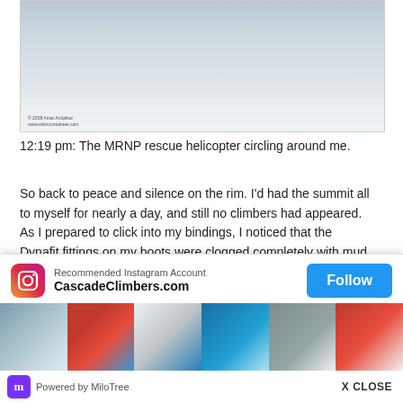[Figure (photo): Aerial or wide-angle snow landscape photo showing a snowy mountain slope/rim under overcast skies. Watermark reads '© 2008 Amar Andalkar / www.skimountaineer.com']
12:19 pm: The MRNP rescue helicopter circling around me.
So back to peace and silence on the rim. I'd had the summit all to myself for nearly a day, and still no climbers had appeared. As I prepared to click into my bindings, I noticed that the Dynafit fittings on my boots were clogged completely with mud. I used a Leatherman tool to chip th... appeared... hard as p... take no c... so I made... too for go...
[Figure (screenshot): MiloTree popup overlay with Instagram follow widget. Shows 'Recommended Instagram Account CascadeClimbers.com' with a Follow button, thumbnail images of mountain scenes, and 'Powered by MiloTree' footer with 'X CLOSE' button.]